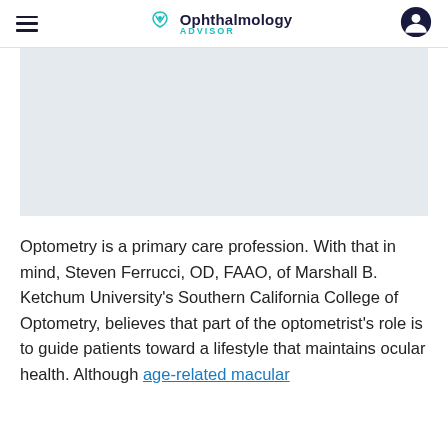Ophthalmology ADVISOR
[Figure (photo): Light gray rectangular placeholder image area]
Optometry is a primary care profession. With that in mind, Steven Ferrucci, OD, FAAO, of Marshall B. Ketchum University's Southern California College of Optometry, believes that part of the optometrist's role is to guide patients toward a lifestyle that maintains ocular health. Although age-related macular